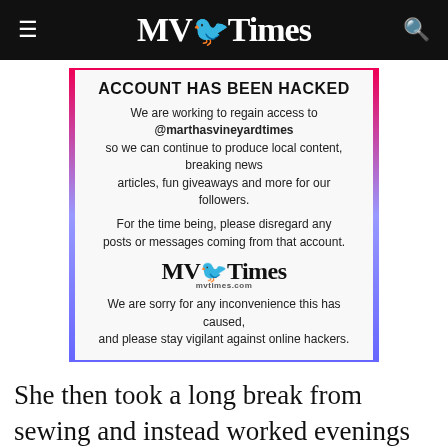MV Times
[Figure (infographic): Notice card with gradient left/right border containing text about hacked Instagram account. Title: ACCOUNT HAS BEEN HACKED. Body: We are working to regain access to @marthasvineyardtimes so we can continue to produce local content, breaking news articles, fun giveaways and more for our followers. For the time being, please disregard any posts or messages coming from that account. MVTimes logo. We are sorry for any inconvenience this has caused, and please stay vigilant against online hackers.]
She then took a long break from sewing and instead worked evenings doing what she could for the next 18 years. That all changed 21 years ago when she moved to the Island with a high school friend and opened the original Menagerie. She did the sewn items for the store and went to yard sales to find vintage items, including three bedspreads that started her design business. She had originally turned those three bedspreads into